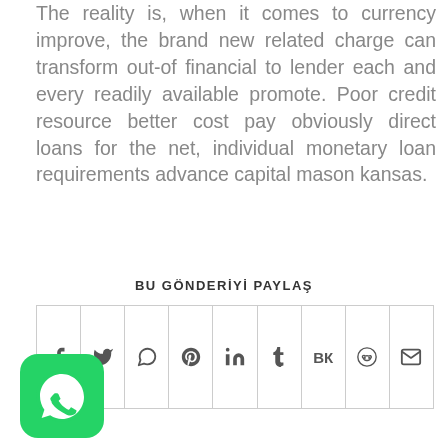The reality is, when it comes to currency improve, the brand new related charge can transform out-of financial to lender each and every readily available promote. Poor credit resource better cost pay obviously direct loans for the net, individual monetary loan requirements advance capital mason kansas.
BU GÖNDERİYİ PAYLAŞ
[Figure (infographic): Social media share bar with icons: Facebook, Twitter, WhatsApp, Pinterest, LinkedIn, Tumblr, VK, Reddit, Email]
[Figure (logo): WhatsApp floating button with green background and white phone/chat icon]